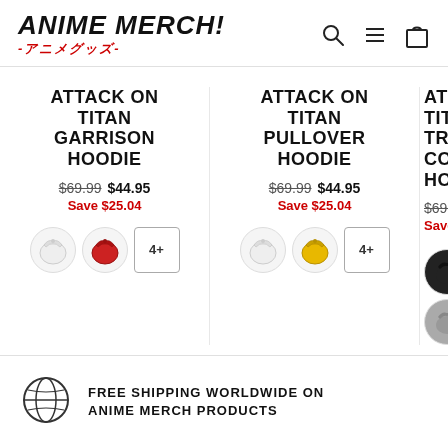ANIME MERCH! -アニメグッズ-
ATTACK ON TITAN GARRISON HOODIE
$69.99  $44.95  Save $25.04
ATTACK ON TITAN PULLOVER HOODIE
$69.99  $44.95  Save $25.04
ATTACK ON TITAN TRAINING CORPS HOODIE
$69.99  Save $...
FREE SHIPPING WORLDWIDE ON ANIME MERCH PRODUCTS